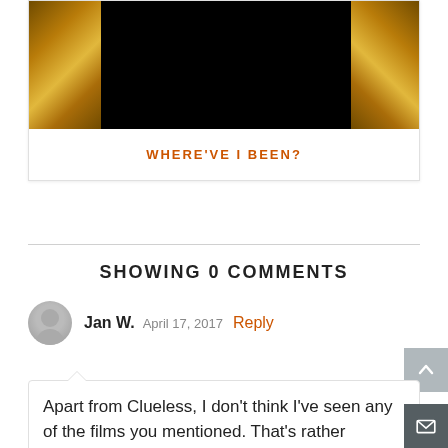[Figure (photo): Dark image with golden statues/columns on left and right sides against a black background]
WHERE'VE I BEEN?
SHOWING 0 COMMENTS
Jan W.    April 17, 2017    Reply
Apart from Clueless, I don’t think I’ve seen any of the films you mentioned. That’s rather